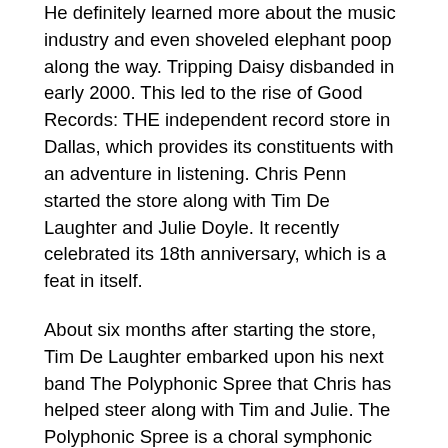He definitely learned more about the music industry and even shoveled elephant poop along the way. Tripping Daisy disbanded in early 2000. This led to the rise of Good Records: THE independent record store in Dallas, which provides its constituents with an adventure in listening. Chris Penn started the store along with Tim De Laughter and Julie Doyle. It recently celebrated its 18th anniversary, which is a feat in itself.
About six months after starting the store, Tim De Laughter embarked upon his next band The Polyphonic Spree that Chris has helped steer along with Tim and Julie. The Polyphonic Spree is a choral symphonic pop experience that must be heard and seen to believe. Usually numbering 23 or so, The Polyphonic Spree has toured ACROSS the globe and has appeared on 'The Tonight Show with Jay Leno', 'Late Night with Conan O'Brien', 'The Jimmy Kimmel Show', 'The Late Late Show with Craig Kilborn', 'UK Hall of Fame Induction Ceremony', 'MTV Music Awards' and the rest... and Nob...